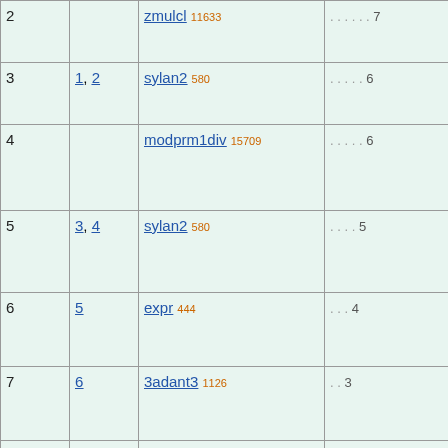| # | Refs | Name | Page |
| --- | --- | --- | --- |
| 2 |  | zmulcl 11633 | . . . . . . 7 |
| 3 | 1, 2 | sylan2 580 | . . . . . 6 |
| 4 |  | modprm1div 15709 | . . . . . 6 |
| 5 | 3, 4 | sylan2 580 | . . . . 5 |
| 6 | 5 | expr 444 | . . . 4 |
| 7 | 6 | 3adant3 1126 | . . 3 |
| 8 | 7 | pm5.32d 566 | . 2 |
| 9 |  | modprminv.1 | . . 3 |
|  |  |  | . 2 |